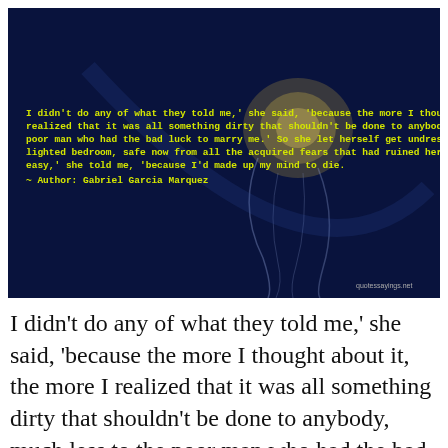[Figure (illustration): Dark navy blue background with a jellyfish image, overlaid with yellow text quoting Gabriel Garcia Marquez and a quotessayings.net watermark]
I didn't do any of what they told me,' she said, 'because the more I thought about it, the more I realized that it was all something dirty that shouldn't be done to anybody, much less to the poor man who had the bad luck to marry me.' So she let herself get